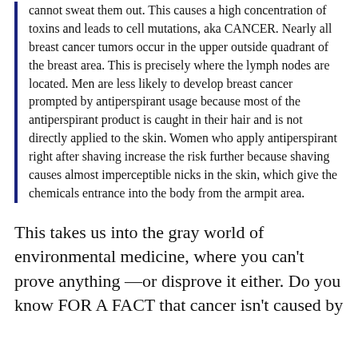cannot sweat them out. This causes a high concentration of toxins and leads to cell mutations, aka CANCER. Nearly all breast cancer tumors occur in the upper outside quadrant of the breast area. This is precisely where the lymph nodes are located. Men are less likely to develop breast cancer prompted by antiperspirant usage because most of the antiperspirant product is caught in their hair and is not directly applied to the skin. Women who apply antiperspirant right after shaving increase the risk further because shaving causes almost imperceptible nicks in the skin, which give the chemicals entrance into the body from the armpit area.
This takes us into the gray world of environmental medicine, where you can't prove anything—or disprove it either. Do you know FOR A FACT that cancer isn't caused by